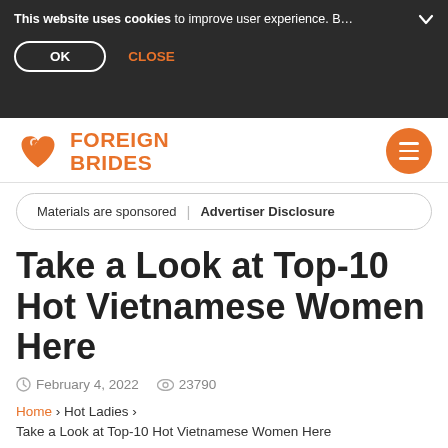This website uses cookies to improve user experience. B…  OK  CLOSE
[Figure (logo): Foreign Brides website logo with orange heart icon and orange FOREIGN BRIDES text, plus hamburger menu button]
Materials are sponsored | Advertiser Disclosure
Take a Look at Top-10 Hot Vietnamese Women Here
February 4, 2022   23790
Home › Hot Ladies › Take a Look at Top-10 Hot Vietnamese Women Here